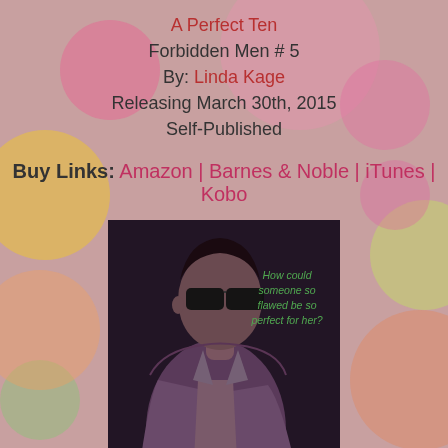A Perfect Ten
Forbidden Men # 5
By: Linda Kage
Releasing March 30th, 2015
Self-Published
Buy Links:  Amazon | Barnes & Noble | iTunes | Kobo
[Figure (photo): Book cover photo of a man wearing sunglasses with an open shirt, with tagline text: 'How could someone so flawed be so perfect for her?']